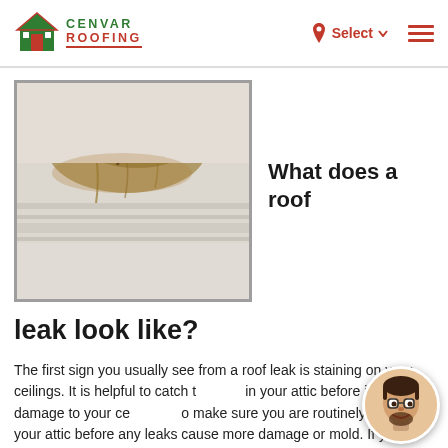CENVAR ROOFING — Select — (menu)
[Figure (photo): Close-up photo of a ceiling corner with brown water stain damage and peeling paint from a roof leak]
What does a roof leak look like?
The first sign you usually see from a roof leak is staining on your ceilings. It is helpful to catch the leak in your attic before it causes damage to your ceiling, so make sure you are routinely checking your attic before any leaks cause more damage or mold. If your rafters